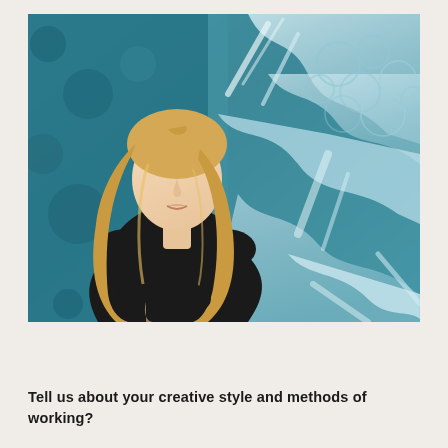[Figure (photo): A blonde woman wearing a black top, photographed against a composite background featuring teal/blue textured water or ocean aerial imagery mixed with a teal painted background.]
Tell us about your creative style and methods of working?